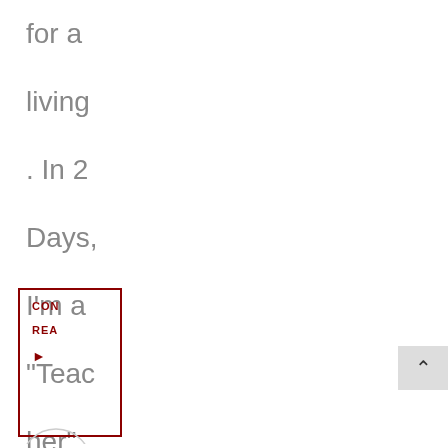for a living. In 2 Days, I'm a "Teacher" No More In...
CON REA ▶
[Figure (other): Back to top arrow button, grey background with upward caret symbol]
[Figure (other): Partial circle icon at bottom left]